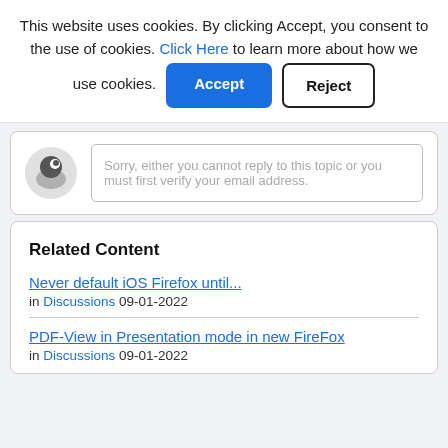This website uses cookies. By clicking Accept, you consent to the use of cookies. Click Here to learn more about how we use cookies.
[Figure (screenshot): Cookie consent banner with Accept button (blue) and Reject button (outlined)]
[Figure (screenshot): Reply box area with anonymous user avatar and disabled reply input saying: Sorry, either you cannot reply to this topic or you must first verify your email address.]
Related Content
Never default iOS Firefox until...
in Discussions 09-01-2022
PDF-View in Presentation mode in new FireFox
in Discussions 09-01-2022